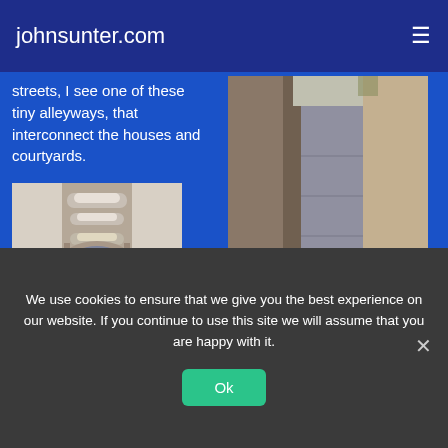johnsunter.com
streets, I see one of these tiny alleyways, that interconnect the houses and courtyards.
[Figure (photo): Narrow stone alleyway between tall walls in Venice]
Palazzo Contarini del BovoloHidden in a maze of alleyways, it took ages to find. Navigation wasn't helped massively by a complete lack of signs and
[Figure (photo): Upward view of the spiral staircase of Palazzo Contarini del Bovolo]
We use cookies to ensure that we give you the best experience on our website. If you continue to use this site we will assume that you are happy with it.